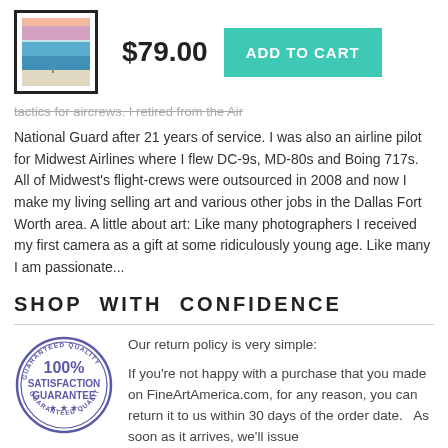[Figure (photo): Framed artwork thumbnail showing a beach/ocean scene with sunset colors]
$79.00
ADD TO CART
tactics for aircrews. I retired from the Air National Guard after 21 years of service. I was also an airline pilot for Midwest Airlines where I flew DC-9s, MD-80s and Boing 717s. All of Midwest's flight-crews were outsourced in 2008 and now I make my living selling art and various other jobs in the Dallas Fort Worth area. A little about art: Like many photographers I received my first camera as a gift at some ridiculously young age. Like many I am passionate...
SHOP WITH CONFIDENCE
[Figure (illustration): 100% Satisfaction Guarantee circular stamp/seal in blue/purple]
Our return policy is very simple:

If you're not happy with a purchase that you made on FineArtAmerica.com, for any reason, you can return it to us within 30 days of the order date.  As soon as it arrives, we'll issue